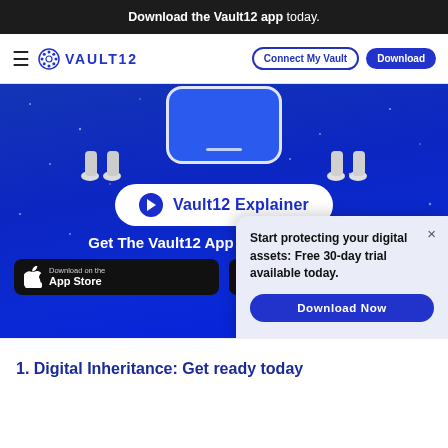Download the Vault12 app today.
[Figure (screenshot): Vault12 website navigation bar with hamburger menu, Vault12 logo, Connect My Vault outline button, and Download solid blue button]
[Figure (screenshot): Hero section with blue starry background, phone graphic at top with feet of people, Vault12 Explainer play button, Get The Vault12 App Onto Your Phone heading, Apple App Store and Google Play store download buttons]
Start protecting your digital assets: Free 30-day trial available today.
Download Now
1. Digital Inheritance: Get ready today